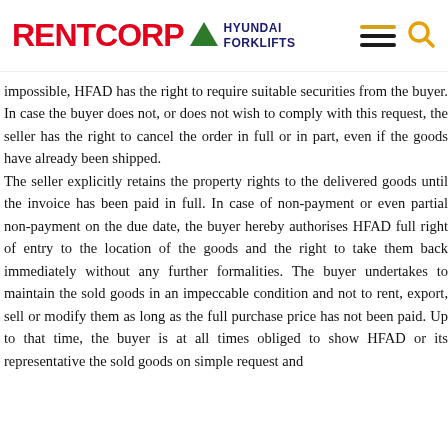RENTCORP ▲ HYUNDAI FORKLIFTS
impossible, HFAD has the right to require suitable securities from the buyer. In case the buyer does not, or does not wish to comply with this request, the seller has the right to cancel the order in full or in part, even if the goods have already been shipped.
The seller explicitly retains the property rights to the delivered goods until the invoice has been paid in full. In case of non-payment or even partial non-payment on the due date, the buyer hereby authorises HFAD full right of entry to the location of the goods and the right to take them back immediately without any further formalities. The buyer undertakes to maintain the sold goods in an impeccable condition and not to rent, export, sell or modify them as long as the full purchase price has not been paid. Up to that time, the buyer is at all times obliged to show HFAD or its representative the sold goods on simple request and